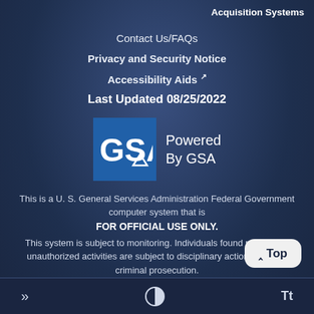Acquisition Systems
Contact Us/FAQs
Privacy and Security Notice
Accessibility Aids ↗
Last Updated 08/25/2022
[Figure (logo): GSA logo — blue square with 'GSA' text and triangle, with 'Powered By GSA' text to the right]
This is a U. S. General Services Administration Federal Government computer system that is FOR OFFICIAL USE ONLY. This system is subject to monitoring. Individuals found performing unauthorized activities are subject to disciplinary action including criminal prosecution.
» | contrast icon | Tt